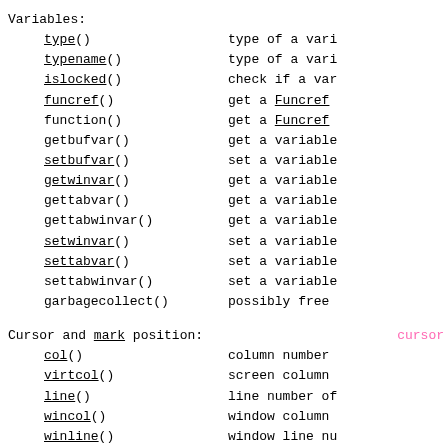Variables:
type()                          type of a vari
typename()                      type of a vari
islocked()                      check if a var
funcref()                       get a Funcref
function()                      get a Funcref
getbufvar()                     get a variable
setbufvar()                     set a variable
getwinvar()                     get a variable
gettabvar()                     get a variable
gettabwinvar()                  get a variable
setwinvar()                     set a variable
settabvar()                     set a variable
settabwinvar()                  set a variable
garbagecollect()                possibly free
Cursor and mark position:               cursor
col()                           column number
virtcol()                       screen column
line()                          line number of
wincol()                        window column
winline()                       window line nu
cursor()                        position the c
screencol()                     get screen col